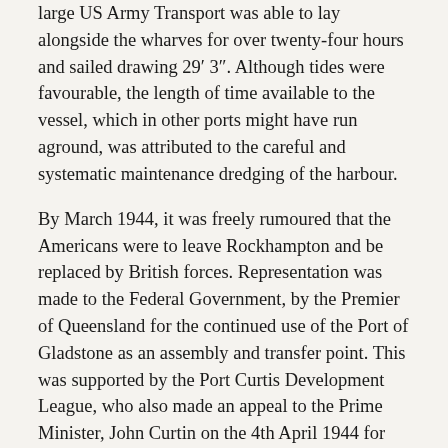large US Army Transport was able to lay alongside the wharves for over twenty-four hours and sailed drawing 29′ 3″. Although tides were favourable, the length of time available to the vessel, which in other ports might have run aground, was attributed to the careful and systematic maintenance dredging of the harbour.
By March 1944, it was freely rumoured that the Americans were to leave Rockhampton and be replaced by British forces. Representation was made to the Federal Government, by the Premier of Queensland for the continued use of the Port of Gladstone as an assembly and transfer point. This was supported by the Port Curtis Development League, who also made an appeal to the Prime Minister, John Curtin on the 4th April 1944 for the continued utilisation of the port for military purposes, on the basis of a national outlook for future planning.
In the advent of British troops coming to Australia and being stationed in the Rockhampton area, the Waterside Workers and the Gladstone Port Authority were eager to